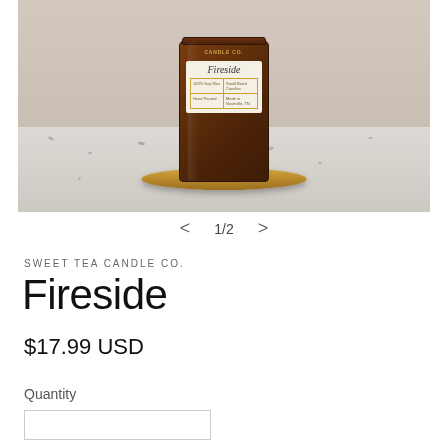[Figure (photo): Amber glass candle jar with label reading 'Fireside', '100% Soy Wax', 'Small Batch Candles', 'Hand Poured', 'Made in Nashville, TN', sitting on a gold/brass round tray on a speckled marble/granite countertop surface.]
1/2
SWEET TEA CANDLE CO.
Fireside
$17.99 USD
Quantity